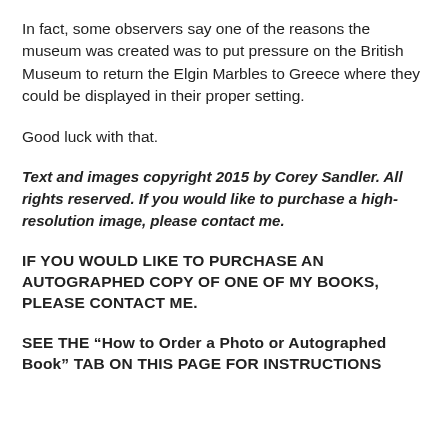In fact, some observers say one of the reasons the museum was created was to put pressure on the British Museum to return the Elgin Marbles to Greece where they could be displayed in their proper setting.
Good luck with that.
Text and images copyright 2015 by Corey Sandler. All rights reserved. If you would like to purchase a high-resolution image, please contact me.
IF YOU WOULD LIKE TO PURCHASE AN AUTOGRAPHED COPY OF ONE OF MY BOOKS, PLEASE CONTACT ME.
SEE THE “How to Order a Photo or Autographed Book” TAB ON THIS PAGE FOR INSTRUCTIONS